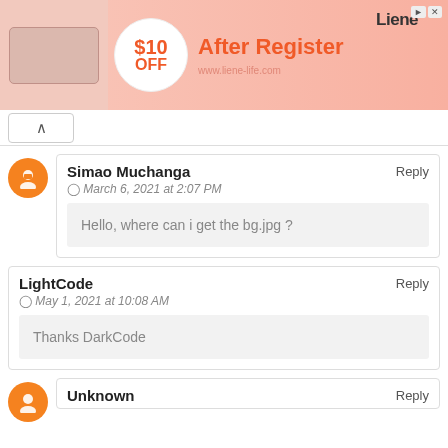[Figure (illustration): Advertisement banner for Liene: $10 OFF After Register, www.liene-life.com, with product image and logo]
Simao Muchanga — March 6, 2021 at 2:07 PM — Hello, where can i get the bg.jpg ?
LightCode — May 1, 2021 at 10:08 AM — Thanks DarkCode
Unknown — Reply